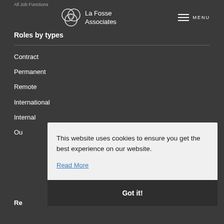All Job Functions | La Fosse Associates | MENU
Roles by types
Contract
Permanent
Remote
International
Internal
Ou
This website uses cookies to ensure you get the best experience on our website.
Read More
Got it!
Re